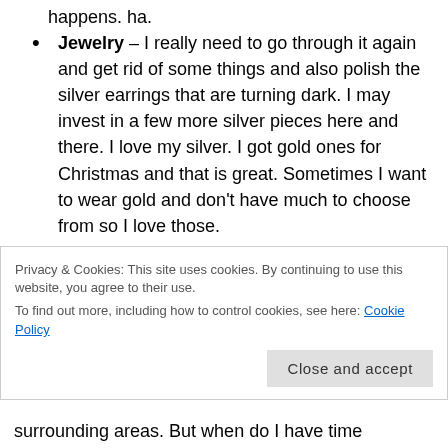happens. ha.
Jewelry – I really need to go through it again and get rid of some things and also polish the silver earrings that are turning dark. I may invest in a few more silver pieces here and there. I love my silver. I got gold ones for Christmas and that is great. Sometimes I want to wear gold and don't have much to choose from so I love those.
Camera Learning – I love my camera and I want to continue learning. I did a few lessons
Privacy & Cookies: This site uses cookies. By continuing to use this website, you agree to their use.
To find out more, including how to control cookies, see here: Cookie Policy
surrounding areas. But when do I have time